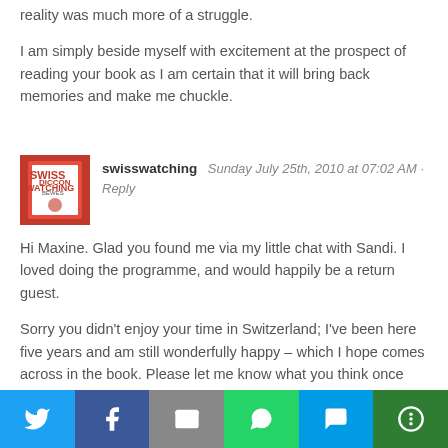reality was much more of a struggle.
I am simply beside myself with excitement at the prospect of reading your book as I am certain that it will bring back memories and make me chuckle.
swisswatching  Sunday July 25th, 2010 at 07:02 AM · Reply
Hi Maxine. Glad you found me via my little chat with Sandi. I loved doing the programme, and would happily be a return guest.
Sorry you didn't enjoy your time in Switzerland; I've been here five years and am still wonderfully happy – which I hope comes across in the book. Please let me know what you think once you've read it. And go back and write a review on Amazon as that helps immensely.